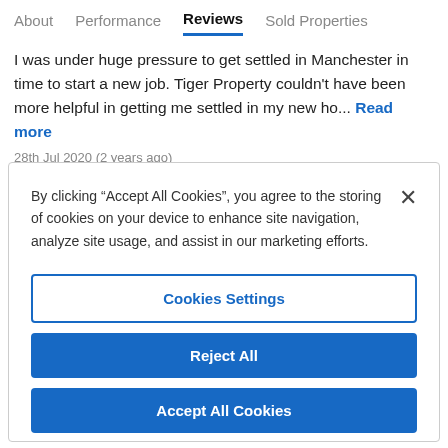About   Performance   Reviews   Sold Properties
I was under huge pressure to get settled in Manchester in time to start a new job. Tiger Property couldn't have been more helpful in getting me settled in my new ho... Read more
28th Jul 2020 (2 years ago)
By clicking “Accept All Cookies”, you agree to the storing of cookies on your device to enhance site navigation, analyze site usage, and assist in our marketing efforts.
Cookies Settings
Reject All
Accept All Cookies